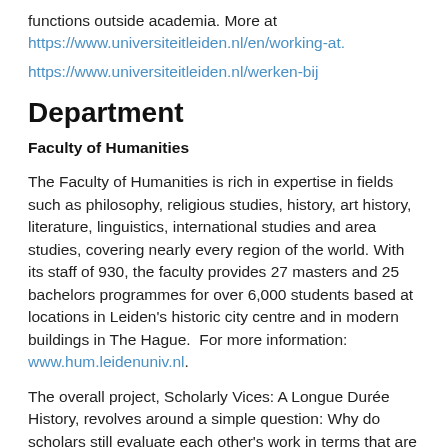functions outside academia. More at https://www.universiteitleiden.nl/en/working-at.
https://www.universiteitleiden.nl/werken-bij
Department
Faculty of Humanities
The Faculty of Humanities is rich in expertise in fields such as philosophy, religious studies, history, art history, literature, linguistics, international studies and area studies, covering nearly every region of the world. With its staff of 930, the faculty provides 27 masters and 25 bachelors programmes for over 6,000 students based at locations in Leiden's historic city centre and in modern buildings in The Hague.  For more information:  www.hum.leidenuniv.nl.
The overall project, Scholarly Vices: A Longue Durée History, revolves around a simple question: Why do scholars still evaluate each other's work in terms that are often centuries